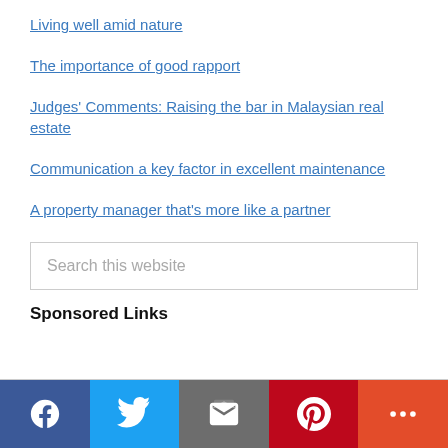Living well amid nature
The importance of good rapport
Judges' Comments: Raising the bar in Malaysian real estate
Communication a key factor in excellent maintenance
A property manager that's more like a partner
Search this website
Sponsored Links
Social share bar: Facebook, Twitter, Email, Pinterest, More